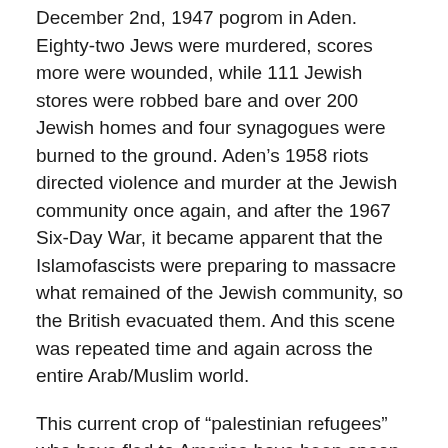December 2nd, 1947 pogrom in Aden. Eighty-two Jews were murdered, scores more were wounded, while 111 Jewish stores were robbed bare and over 200 Jewish homes and four synagogues were burned to the ground. Aden's 1958 riots directed violence and murder at the Jewish community once again, and after the 1967 Six-Day War, it became apparent that the Islamofascists were preparing to massacre what remained of the Jewish community, so the British evacuated them. And this scene was repeated time and again across the entire Arab/Muslim world.
This current crop of “palestinian refugees” who have fled to America have been spoon fed the propaganda of Islamofascism and the myth of